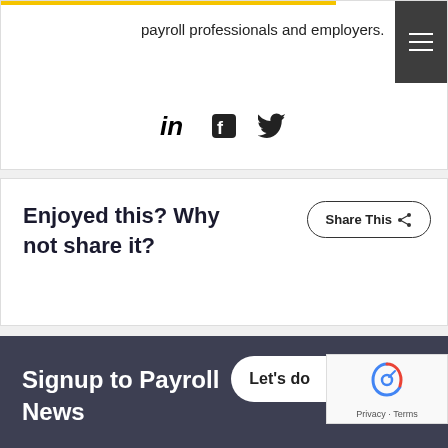payroll professionals and employers.
[Figure (other): Social media icons: LinkedIn, Facebook, Twitter]
Enjoyed this? Why not share it?
Share This
Signup to Payroll News
Let's do